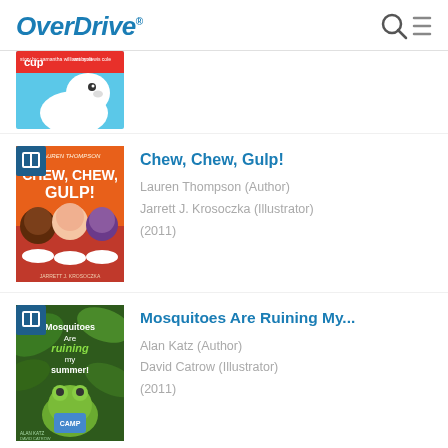OverDrive
[Figure (screenshot): Partially visible book cover at top of list - white dog on blue background, cropped]
Chew, Chew, Gulp!
Lauren Thompson (Author)
Jarrett J. Krosoczka (Illustrator)
(2011)
[Figure (illustration): Book cover for Chew, Chew, Gulp! - orange cover with three children eating at a table, with book badge icon in top-left corner]
Mosquitoes Are Ruining My...
Alan Katz (Author)
David Catrow (Illustrator)
(2011)
[Figure (illustration): Book cover for Mosquitoes Are Ruining My... - green jungle cover with frog, with book badge icon in top-left corner]